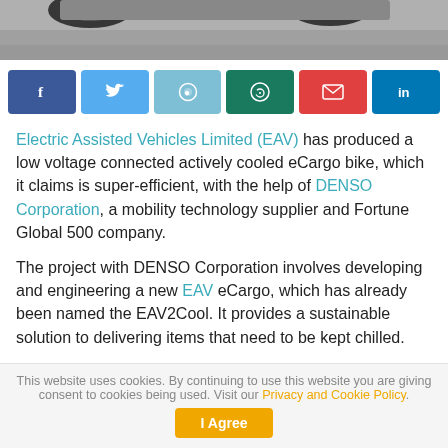[Figure (photo): Top portion of a vehicle/eCargo bike photo, showing wheels on pavement]
[Figure (infographic): Social media sharing buttons: Facebook, Twitter, Reddit, WhatsApp, Email, LinkedIn]
Electric Assisted Vehicles Limited (EAV) has produced a low voltage connected actively cooled eCargo bike, which it claims is super-efficient, with the help of DENSO Corporation, a mobility technology supplier and Fortune Global 500 company.
The project with DENSO Corporation involves developing and engineering a new EAV eCargo, which has already been named the EAV2Cool. It provides a sustainable solution to delivering items that need to be kept chilled.
This website uses cookies. By continuing to use this website you are giving consent to cookies being used. Visit our Privacy and Cookie Policy.